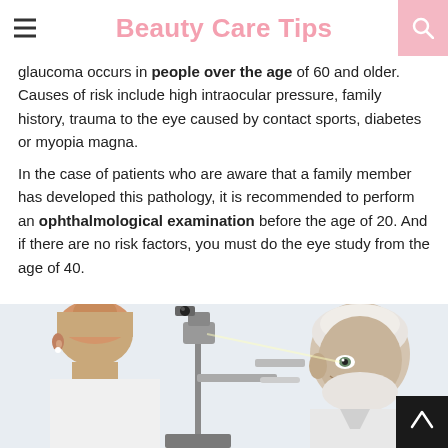Beauty Care Tips
glaucoma occurs in people over the age of 60 and older. Causes of risk include high intraocular pressure, family history, trauma to the eye caused by contact sports, diabetes or myopia magna.
In the case of patients who are aware that a family member has developed this pathology, it is recommended to perform an ophthalmological examination before the age of 20. And if there are no risk factors, you must do the eye study from the age of 40.
[Figure (photo): A female doctor using a slit lamp to examine an elderly male patient's eyes in a clinical setting.]